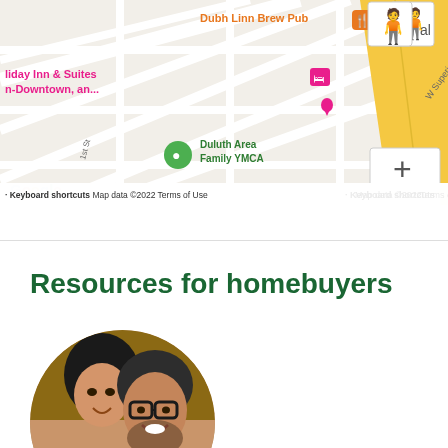[Figure (map): Google Maps screenshot showing Duluth area with Dubh Linn Brew Pub, Holiday Inn & Suites Downtown, Duluth Area Family YMCA, W Superior St, zoom controls (+/-), pegman icon, and map attribution: Keyboard shortcuts, Map data ©2022, Terms of Use]
Resources for homebuyers
[Figure (photo): Circular cropped photo of a smiling couple — a woman leaning in toward a man wearing glasses]